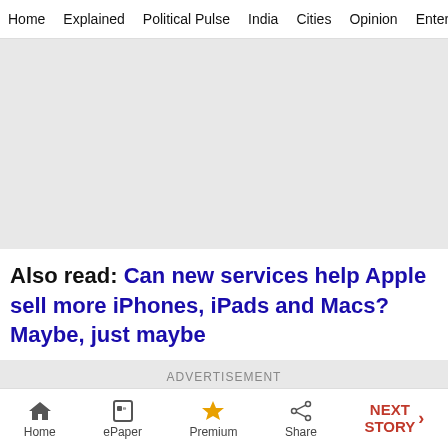Home  Explained  Political Pulse  India  Cities  Opinion  Entertainment
[Figure (other): Gray advertisement placeholder image area]
Also read: Can new services help Apple sell more iPhones, iPads and Macs? Maybe, just maybe
ADVERTISEMENT
Home  ePaper  Premium  Share  NEXT STORY